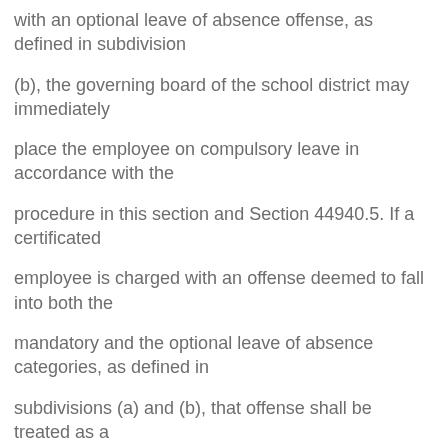with an optional leave of absence offense, as defined in subdivision
(b), the governing board of the school district may immediately
place the employee on compulsory leave in accordance with the
procedure in this section and Section 44940.5. If a certificated
employee is charged with an offense deemed to fall into both the
mandatory and the optional leave of absence categories, as defined in
subdivisions (a) and (b), that offense shall be treated as a
mandatory leave of absence offense for purposes of this section. No